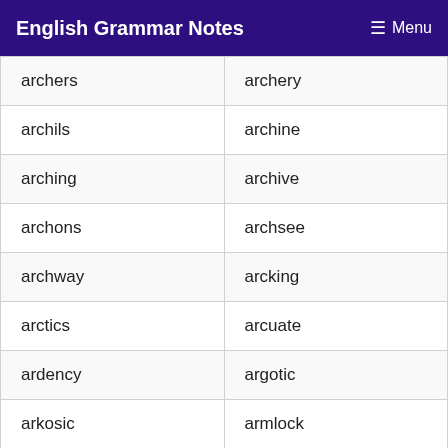English Grammar Notes   ≡ Menu
| archers | archery |
| archils | archine |
| arching | archive |
| archons | archsee |
| archway | arcking |
| arctics | arcuate |
| ardency | argotic |
| arkosic | armlock |
| armscye | arnicas |